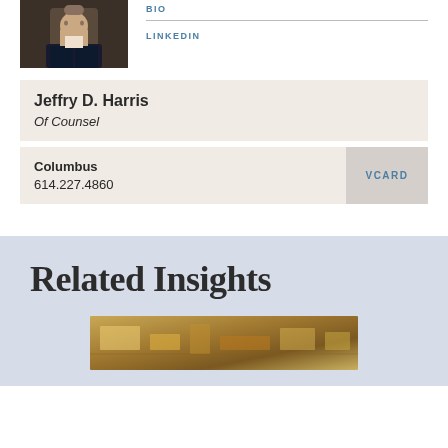[Figure (photo): Portrait photo of a man in a dark suit and tie]
BIO
LINKEDIN
Jeffry D. Harris
Of Counsel
Columbus
614.227.4860
VCARD
Related Insights
[Figure (photo): Aerial construction site photo]